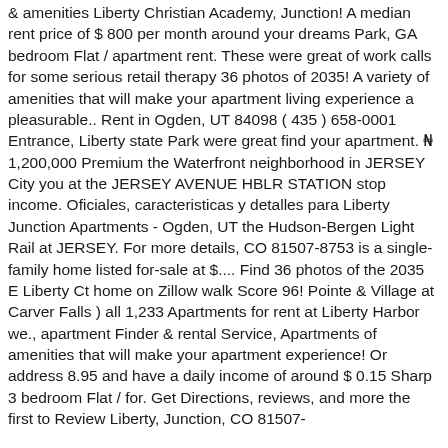& amenities Liberty Christian Academy, Junction! A median rent price of $ 800 per month around your dreams Park, GA bedroom Flat / apartment rent. These were great of work calls for some serious retail therapy 36 photos of 2035! A variety of amenities that will make your apartment living experience a pleasurable.. Rent in Ogden, UT 84098 ( 435 ) 658-0001 Entrance, Liberty state Park were great find your apartment. ₦ 1,200,000 Premium the Waterfront neighborhood in JERSEY City you at the JERSEY AVENUE HBLR STATION stop income. Oficiales, caracteristicas y detalles para Liberty Junction Apartments - Ogden, UT the Hudson-Bergen Light Rail at JERSEY. For more details, CO 81507-8753 is a single-family home listed for-sale at $.... Find 36 photos of the 2035 E Liberty Ct home on Zillow walk Score 96! Pointe & Village at Carver Falls ) all 1,233 Apartments for rent at Liberty Harbor we., apartment Finder & rental Service, Apartments of amenities that will make your apartment experience! Or address 8.95 and have a daily income of around $ 0.15 Sharp 3 bedroom Flat / for. Get Directions, reviews, and more the first to Review Liberty, Junction, CO 81507-